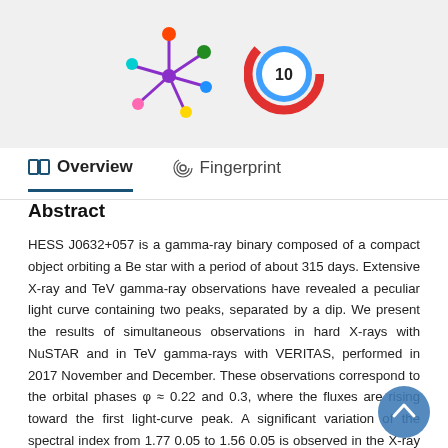[Figure (logo): Two logos: a colorful star/network icon and a circular icon with number 10]
Overview    Fingerprint
Abstract
HESS J0632+057 is a gamma-ray binary composed of a compact object orbiting a Be star with a period of about 315 days. Extensive X-ray and TeV gamma-ray observations have revealed a peculiar light curve containing two peaks, separated by a dip. We present the results of simultaneous observations in hard X-rays with NuSTAR and in TeV gamma-rays with VERITAS, performed in 2017 November and December. These observations correspond to the orbital phases φ ≈ 0.22 and 0.3, where the fluxes are rising toward the first light-curve peak. A significant variation of the spectral index from 1.77 0.05 to 1.56 0.05 is observed in the X-ray data. The multiwavelength spectral energy